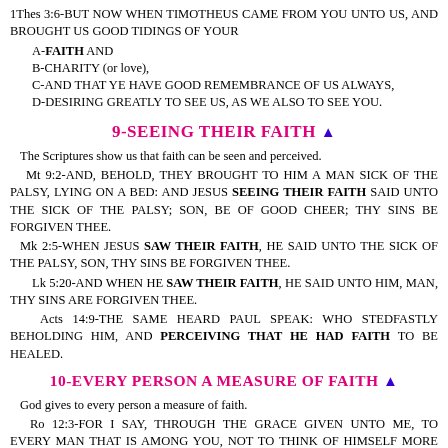1Thes 3:6-BUT NOW WHEN TIMOTHEUS CAME FROM YOU UNTO US, AND BROUGHT US GOOD TIDINGS OF YOUR
A-FAITH AND
B-CHARITY (or love),
C-AND THAT YE HAVE GOOD REMEMBRANCE OF US ALWAYS,
D-DESIRING GREATLY TO SEE US, AS WE ALSO TO SEE YOU.
9-SEEING THEIR FAITH ▲
The Scriptures show us that faith can be seen and perceived.
Mt 9:2-AND, BEHOLD, THEY BROUGHT TO HIM A MAN SICK OF THE PALSY, LYING ON A BED: AND JESUS SEEING THEIR FAITH SAID UNTO THE SICK OF THE PALSY; SON, BE OF GOOD CHEER; THY SINS BE FORGIVEN THEE.
Mk 2:5-WHEN JESUS SAW THEIR FAITH, HE SAID UNTO THE SICK OF THE PALSY, SON, THY SINS BE FORGIVEN THEE.
Lk 5:20-AND WHEN HE SAW THEIR FAITH, HE SAID UNTO HIM, MAN, THY SINS ARE FORGIVEN THEE.
Acts 14:9-THE SAME HEARD PAUL SPEAK: WHO STEDFASTLY BEHOLDING HIM, AND PERCEIVING THAT HE HAD FAITH TO BE HEALED.
10-EVERY PERSON A MEASURE OF FAITH ▲
God gives to every person a measure of faith.
Ro 12:3-FOR I SAY, THROUGH THE GRACE GIVEN UNTO ME, TO EVERY MAN THAT IS AMONG YOU, NOT TO THINK OF HIMSELF MORE HIGHLY THAN HE OUGHT TO THINK; BUT TO THINK SOBERLY